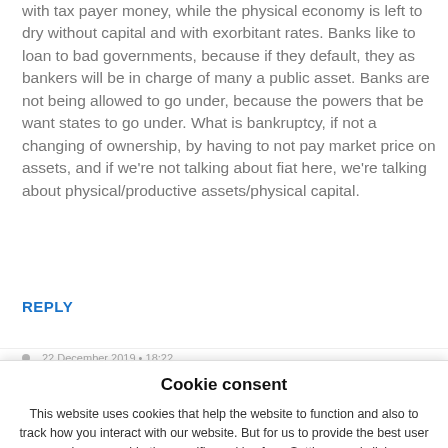with tax payer money, while the physical economy is left to dry without capital and with exorbitant rates. Banks like to loan to bad governments, because if they default, they as bankers will be in charge of many a public asset. Banks are not being allowed to go under, because the powers that be want states to go under. What is bankruptcy, if not a changing of ownership, by having to not pay market price on assets, and if we're not talking about fiat here, we're talking about physical/productive assets/physical capital.
REPLY
Cookie consent
This website uses cookies that help the website to function and also to track how you interact with our website. But for us to provide the best user experience, enable the specific cookies from Settings, and click on Accept.